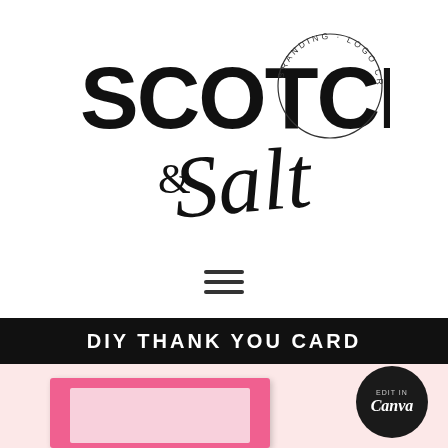[Figure (logo): Scotch & Salt branding logo with circular text 'BRANDING · LOGO CREATION · AND MORE...' and bold SCOTCH text with cursive Salt script]
[Figure (infographic): Hamburger menu icon (three horizontal lines)]
[Figure (infographic): DIY Thank You Card banner with black header text on dark background and pink card preview with Canva badge]